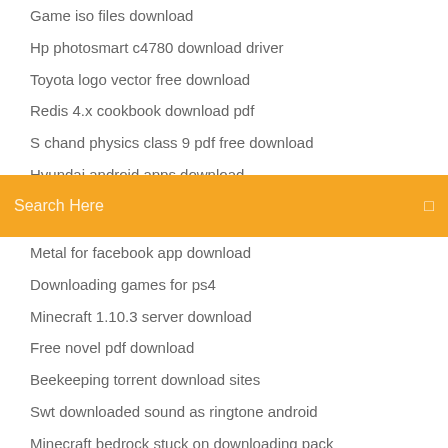Game iso files download
Hp photosmart c4780 download driver
Toyota logo vector free download
Redis 4.x cookbook download pdf
S chand physics class 9 pdf free download
Hyundai android apps download
Samsung s7 wont download pdf
Search Here
Metal for facebook app download
Downloading games for ps4
Minecraft 1.10.3 server download
Free novel pdf download
Beekeeping torrent download sites
Swt downloaded sound as ringtone android
Minecraft bedrock stuck on downloading pack
Whats an appropiate size for a downloadable pdf
Download free apps for mac
Toilet full torrent movie download